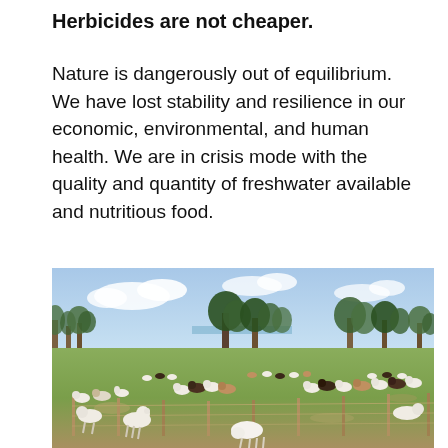Herbicides are not cheaper.
Nature is dangerously out of equilibrium. We have lost stability and resilience in our economic, environmental, and human health. We are in crisis mode with the quality and quantity of freshwater available and nutritious food.
[Figure (photo): A large herd of goats and other livestock grazing in a green pasture field with a wire fence in the foreground, trees and a body of water visible in the background under a partly cloudy sky.]